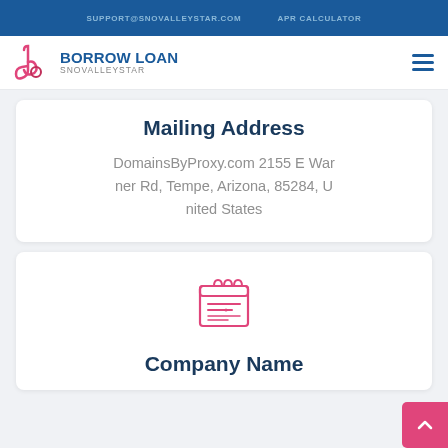SUPPORT@SNOVALLEYSTAR.COM   APR CALCULATOR
[Figure (logo): Borrow Loan SnovalleyStar logo with stylized b/p icon in pink/magenta and blue text]
Mailing Address
DomainsByProxy.com 2155 E Warner Rd, Tempe, Arizona, 85284, United States
[Figure (illustration): Pink outline icon of a calendar/document with lines representing text]
Company Name